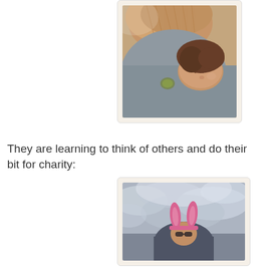[Figure (photo): A photo in a polaroid-style frame showing a child lying down with a fluffy dog, with a warm vintage Instagram filter applied.]
They are learning to think of others and do their bit for charity:
[Figure (photo): A photo in a polaroid-style frame showing a person wearing pink bunny ears against a cloudy grey sky.]